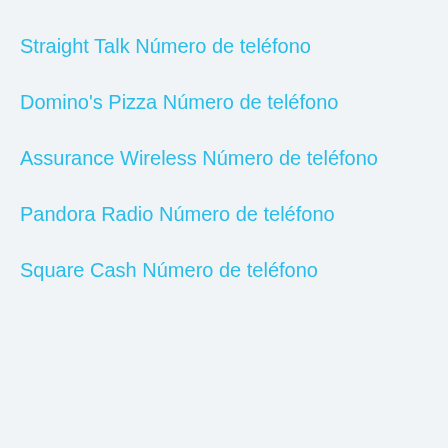Straight Talk Número de teléfono
Domino's Pizza Número de teléfono
Assurance Wireless Número de teléfono
Pandora Radio Número de teléfono
Square Cash Número de teléfono